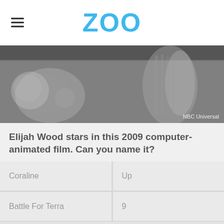ZOO
[Figure (photo): Greyscale image of what appears to be animated/computer-generated figures with 'NBC Universal' credit in bottom right]
Elijah Wood stars in this 2009 computer-animated film. Can you name it?
Coraline
Up
Battle For Terra
9
Advertisement